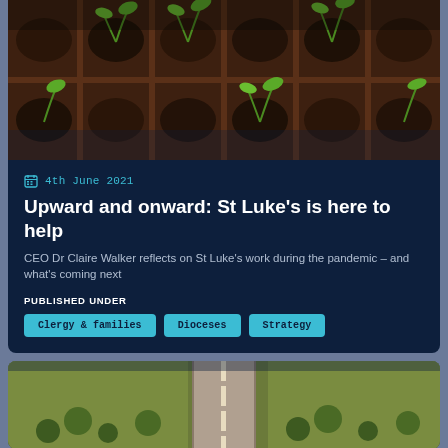[Figure (photo): Close-up photo of green seedlings sprouting in a dark soil seedling tray]
4th June 2021
Upward and onward: St Luke's is here to help
CEO Dr Claire Walker reflects on St Luke's work during the pandemic – and what's coming next
PUBLISHED UNDER
Clergy & families
Dioceses
Strategy
[Figure (photo): Aerial view of a road through green countryside]